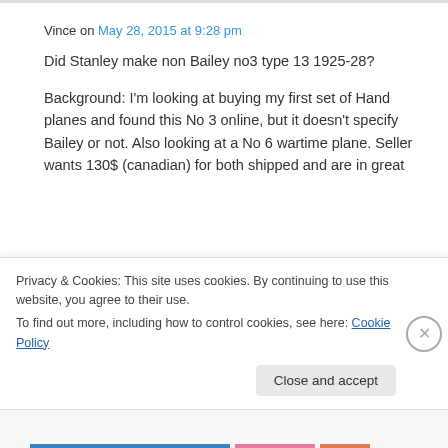Vince on May 28, 2015 at 9:28 pm
Did Stanley make non Bailey no3 type 13 1925-28?
Background: I’m looking at buying my first set of Hand planes and found this No 3 online, but it doesn’t specify Bailey or not. Also looking at a No 6 wartime plane. Seller wants 130$ (canadian) for both shipped and are in great
Privacy & Cookies: This site uses cookies. By continuing to use this website, you agree to their use.
To find out more, including how to control cookies, see here: Cookie Policy
Close and accept